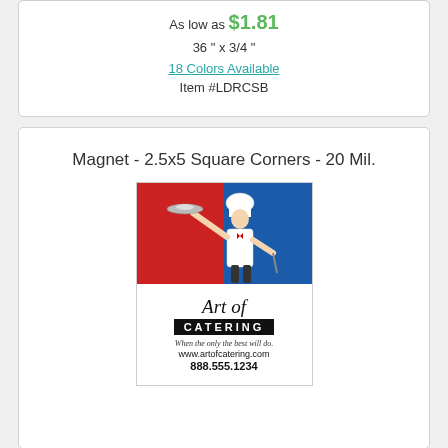As low as $1.81
36 " x 3/4 "
18 Colors Available
Item #LDRCSB
Magnet - 2.5x5 Square Corners - 20 Mil.
[Figure (logo): Art of Catering logo showing a chef holding a serving platter against a colorful quadrant background (yellow, green, red, blue), with text 'Art of Catering', tagline 'When the only the best will do.', website www.artofcatering.com, and phone 888.555.1234]